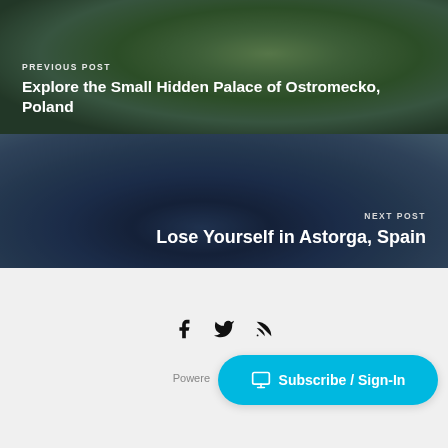[Figure (photo): Previous post banner: photo of a white palace building surrounded by green trees, with dark overlay. Text overlay shows 'PREVIOUS POST' label and title.]
PREVIOUS POST
Explore the Small Hidden Palace of Ostromecko, Poland
[Figure (photo): Next post banner: photo of a Gothic stone castle/cathedral tower against a blue sky, with dark teal overlay. Text overlay shows 'NEXT POST' label and title.]
NEXT POST
Lose Yourself in Astorga, Spain
Social icons: Facebook, Twitter, RSS
Powered
Subscribe / Sign-In